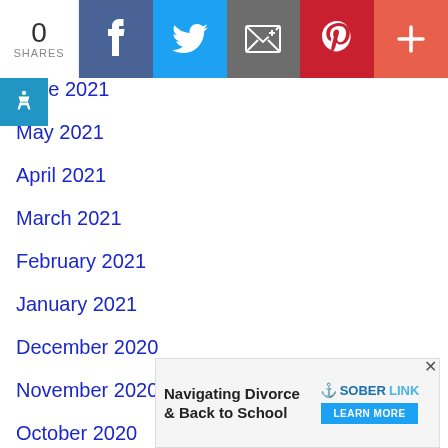[Figure (other): Social share bar with 0 shares count, Facebook, Twitter, Email, Pinterest, and More (+) buttons]
June 2021
May 2021
April 2021
March 2021
February 2021
January 2021
December 2020
November 2020
October 2020
September 2020
August 2020
July 2020
[Figure (other): Advertisement banner: Navigating Divorce & Back to School - SOBERLINK - LEARN MORE button]